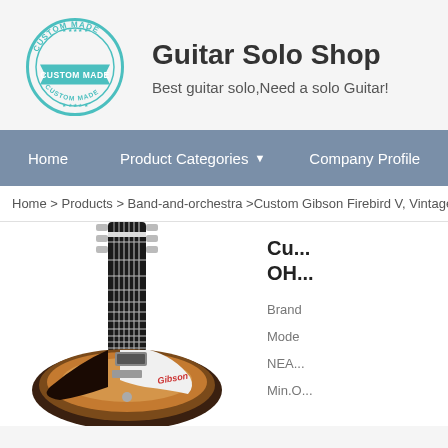[Figure (logo): Custom Made circular stamp logo in teal/cyan color]
Guitar Solo Shop
Best guitar solo,Need a solo Guitar!
Home    Product Categories ▾    Company Profile
Home > Products > Band-and-orchestra >Custom Gibson Firebird V, Vintage Sunb...
[Figure (photo): Gibson Firebird V electric guitar in vintage sunburst finish, showing neck and body]
Cu... OH...
Brand
Mode
NEA...
Min.O...